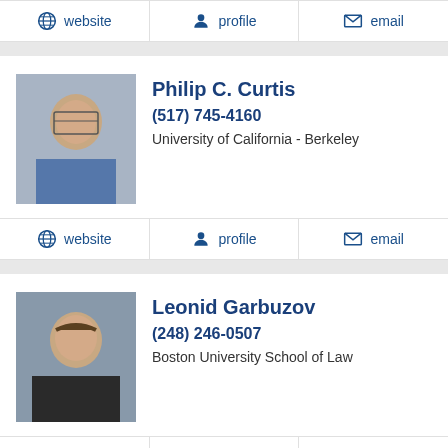website | profile | email
[Figure (photo): Headshot of Philip C. Curtis, a man with glasses]
Philip C. Curtis
(517) 745-4160
University of California - Berkeley
website | profile | email
[Figure (photo): Headshot of Leonid Garbuzov, a young man in a suit]
Leonid Garbuzov
(248) 246-0507
Boston University School of Law
website | profile | email
[Figure (photo): Headshot of Jimmy Johnson outdoors]
Jimmy Johnson